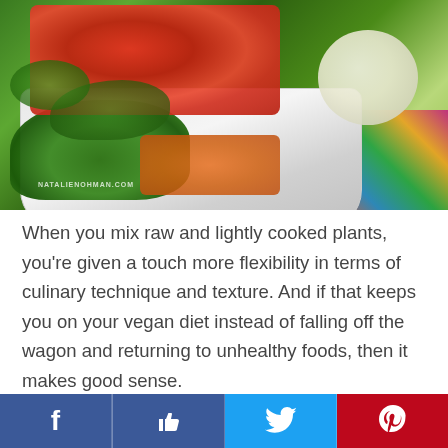[Figure (photo): A white rectangular bowl filled with colorful raw and lightly cooked vegetables including broccoli, chopped red tomatoes, cauliflower, and orange carrot pieces, placed on a vibrant patterned tablecloth. Watermark reads NATALIENOHMAN.COM.]
When you mix raw and lightly cooked plants, you're given a touch more flexibility in terms of culinary technique and texture. And if that keeps you on your vegan diet instead of falling off the wagon and returning to unhealthy foods, then it makes good sense.
Be gentle with yourself, love yourself, and keep moving